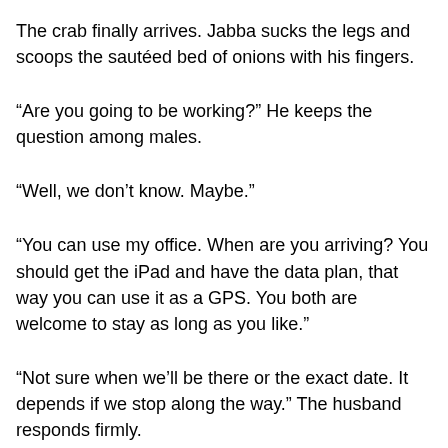The crab finally arrives. Jabba sucks the legs and scoops the sautéed bed of onions with his fingers.
“Are you going to be working?” He keeps the question among males.
“Well, we don’t know. Maybe.”
“You can use my office. When are you arriving? You should get the iPad and have the data plan, that way you can use it as a GPS. You both are welcome to stay as long as you like.”
“Not sure when we’ll be there or the exact date. It depends if we stop along the way.” The husband responds firmly.